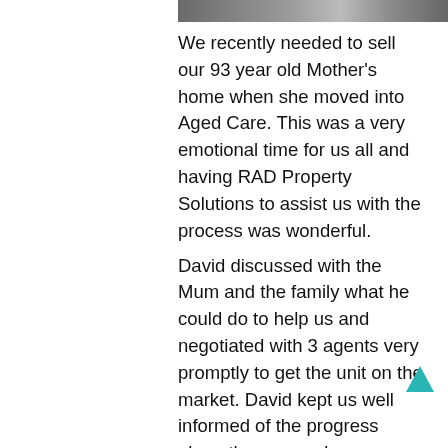[Figure (photo): Partial photo strip visible at top of page]
We recently needed to sell our 93 year old Mother's home when she moved into Aged Care. This was a very emotional time for us all and having RAD Property Solutions to assist us with the process was wonderful. David discussed with the Mum and the family what he could do to help us and negotiated with 3 agents very promptly to get the unit on the market. David kept us well informed of the progress along the way and